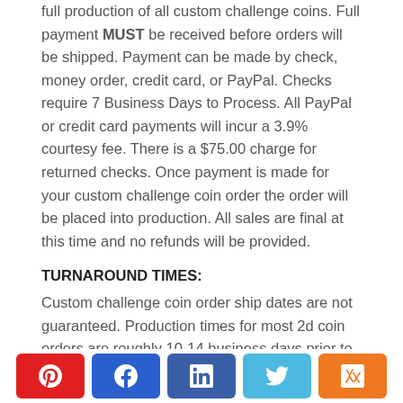full production of all custom challenge coins. Full payment MUST be received before orders will be shipped. Payment can be made by check, money order, credit card, or PayPal. Checks require 7 Business Days to Process. All PayPal or credit card payments will incur a 3.9% courtesy fee. There is a $75.00 charge for returned checks. Once payment is made for your custom challenge coin order the order will be placed into production. All sales are final at this time and no refunds will be provided.
TURNAROUND TIMES:
Custom challenge coin order ship dates are not guaranteed. Production times for most 2d coin orders are roughly 10-14 business days prior to shipping. More complicated coins such as 3d, multi